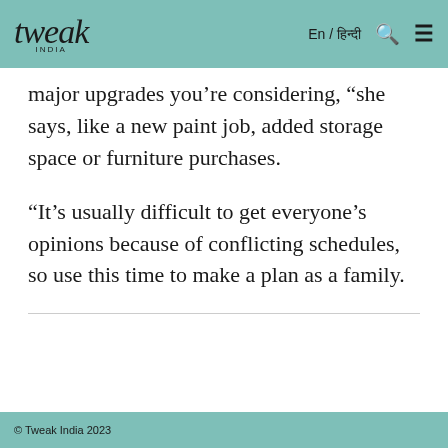tweak INDIA   En / हिन्दी 🔍 ☰
major upgrades you're considering, she says, like a new paint job, added storage space or furniture purchases.
“It’s usually difficult to get everyone’s opinions because of conflicting schedules, so use this time to make a plan as a family.
© Tweak India 2023